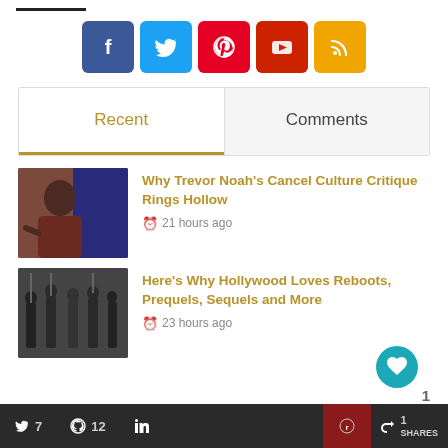[Figure (other): Social media icon buttons: Facebook (blue), Twitter (light blue), Pinterest (red), YouTube (dark red), RSS (orange)]
Recent | Comments (tab switcher)
[Figure (photo): Photo of Trevor Noah pointing at camera, with colorful background]
Why Trevor Noah's Cancel Culture Critique Rings Hollow
21 hours ago
[Figure (photo): Black and white or desaturated photo of warriors/soldiers in a line]
Here's Why Hollywood Loves Reboots, Prequels, Sequels and More
23 hours ago
Twitter 7 | GitHub 12 | LinkedIn | (share counts) | 1 Share